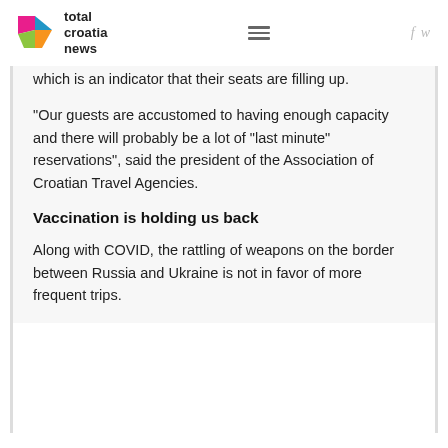total croatia news
which is an indicator that their seats are filling up.
"Our guests are accustomed to having enough capacity and there will probably be a lot of "last minute" reservations", said the president of the Association of Croatian Travel Agencies.
Vaccination is holding us back
Along with COVID, the rattling of weapons on the border between Russia and Ukraine is not in favor of more frequent trips.